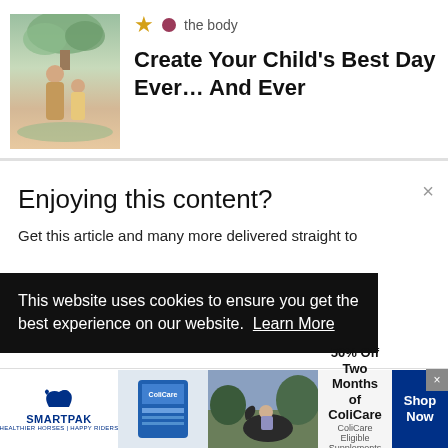[Figure (illustration): Book cover showing a mother and child illustration with soft green and warm tones]
the body
Create Your Child's Best Day Ever… And Ever
Enjoying this content?
Get this article and many more delivered straight to
This website uses cookies to ensure you get the best experience on our website. Learn More
[Figure (infographic): SmartPak advertisement: 50% Off Two Months of ColiCare, ColiCare Eligible Supplements, CODE: COLICARE10, with Shop Now button]